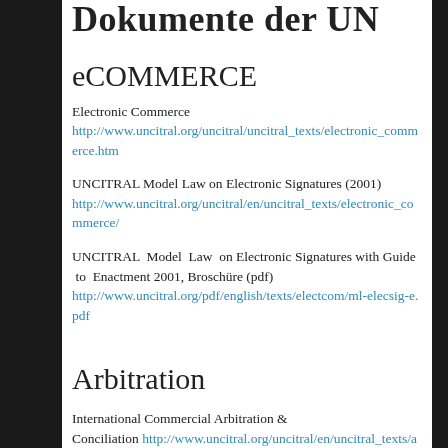Dokumente der UN
eCOMMERCE
Electronic Commerce
http://www.uncitral.org/uncitral/uncitral_texts/electronic_commerce.htm
UNCITRAL Model Law on Electronic Signatures (2001)
http://www.uncitral.org/uncitral/en/uncitral_texts/electronic_commerce/
UNCITRAL Model Law on Electronic Signatures with Guide to Enactment 2001, Broschüre (pdf)
http://www.uncitral.org/pdf/english/texts/electcom/ml-elecsig-e.pdf
Arbitration
International Commercial Arbitration & Conciliation http://www.uncitral.org/uncitral/en/uncitral_texts/arbitratio
Online Dispute Resolution